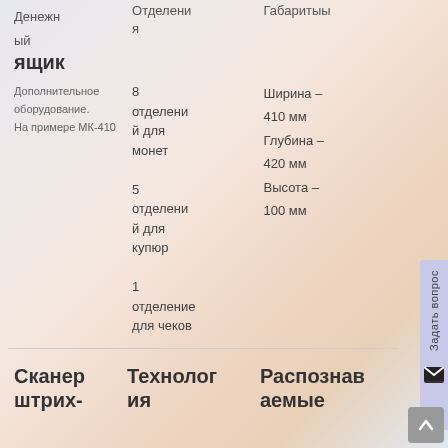| Денежный ящик | Отделения | Габариты |
| --- | --- | --- |
| Дополнительное оборудование.
На примере МК-410 | 8 отделений для монет
5 отделений для купюр
1 отделение для чеков | Ширина – 410 мм
Глубина – 420 мм
Высота – 100 мм |
| Сканер штрих- | Технология | Распознаваемые |
| --- | --- | --- |